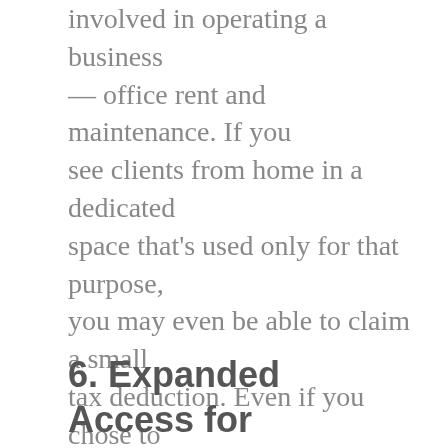involved in operating a business — office rent and maintenance. If you see clients from home in a dedicated space that's used only for that purpose, you may even be able to claim a small tax deduction. Even if you chose to maintain a physical presence just to have a place to work outside of the home, your office space may not need to be as large or in as convenient of a location as those operating in-person practices.
6. Expanded Access for Those With Challenges